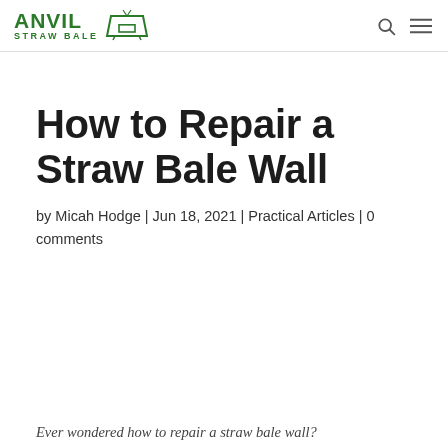ANVIL STRAW BALE
How to Repair a Straw Bale Wall
by Micah Hodge | Jun 18, 2021 | Practical Articles | 0 comments
Ever wondered how to repair a straw bale wall?